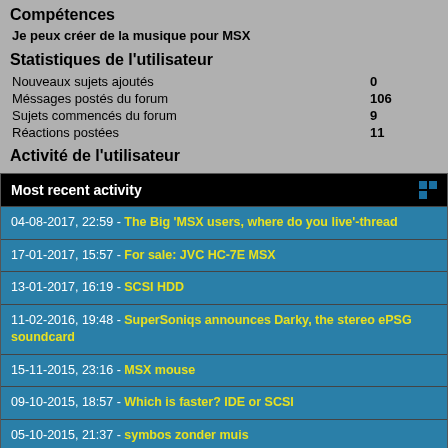Compétences
Je peux créer de la musique pour MSX
Statistiques de l'utilisateur
| Nouveaux sujets ajoutés | 0 |
| Méssages postés du forum | 106 |
| Sujets commencés du forum | 9 |
| Réactions postées | 11 |
Activité de l'utilisateur
Most recent activity
04-08-2017, 22:59 - The Big 'MSX users, where do you live'-thread
17-01-2017, 15:57 - For sale: JVC HC-7E MSX
13-01-2017, 16:19 - SCSI HDD
11-02-2016, 19:48 - SuperSoniqs announces Darky, the stereo ePSG soundcard
15-11-2015, 23:16 - MSX mouse
09-10-2015, 18:57 - Which is faster? IDE or SCSI
05-10-2015, 21:37 - symbos zonder muis